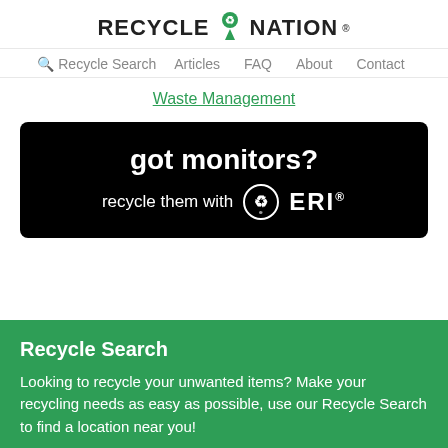RECYCLE NATION
Recycle Search  Articles  FAQ  About  Contact
Waste Management
[Figure (infographic): Black banner ad: 'got monitors? recycle them with ERI' with recycling logo]
Recycle Search
Looking to recycle your unwanted items? Make your recycling needs as easy as possible, use our Recycle Search to find a location near you!